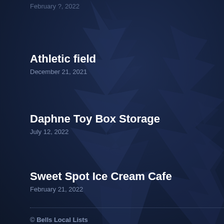February ?, 2022 (clipped)
Athletic field
December 21, 2021
Daphne Toy Box Storage
July 12, 2022
Sweet Spot Ice Cream Cafe
February 21, 2022
© Bells Local Lists
Made with ❤ Citation Vault